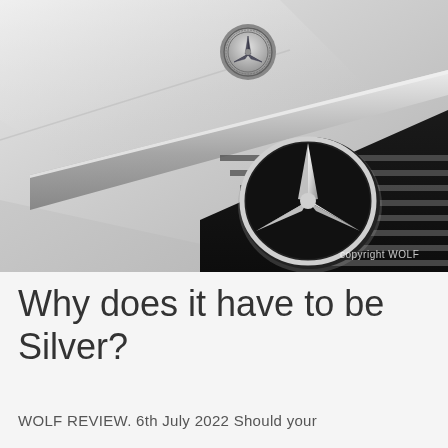[Figure (photo): Close-up photo of the front of a silver Mercedes-Benz car showing the hood with the Mercedes star badge and the chrome front grille with the large three-pointed star emblem. Copyright watermark 'copyright WOLF' in bottom right corner.]
Why does it have to be Silver?
WOLF REVIEW. 6th July 2022 Should your